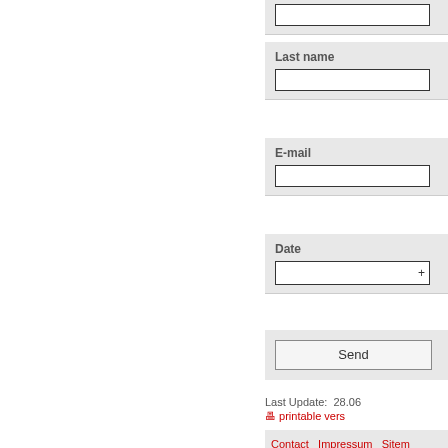(partial input field at top)
Last name
E-mail
Date
Send
Last Update:  28.06
printable vers
Contact   Impressum   Sitem
Deutsch  Index
Z  Mobil  Datenschutz